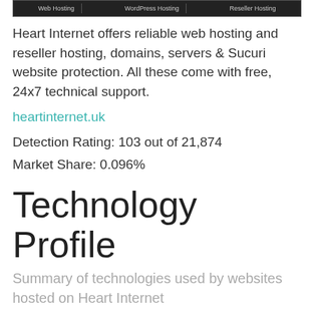[Figure (screenshot): Navigation bar with Web Hosting, WordPress Hosting, and Reseller Hosting tabs on dark background]
Heart Internet offers reliable web hosting and reseller hosting, domains, servers & Sucuri website protection. All these come with free, 24x7 technical support.
heartinternet.uk
Detection Rating: 103 out of 21,874
Market Share: 0.096%
Technology Profile
Summary of technologies used by websites hosted on Heart Internet